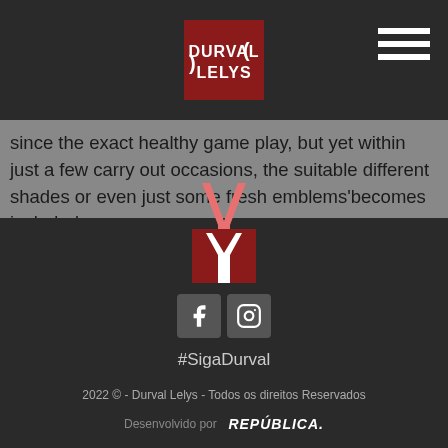[Figure (logo): Durval Lelys logo - red square background with stylized white text DURVAL LELYS, centered in dark header bar]
since the exact healthy game play, but yet within just a few carry out occasions, the suitable different shades or even just some fresh emblems'becomes included.
[Figure (logo): Durval Lelys Y-shaped logo icon: salmon/coral colored Y prongs above a dark red square containing a white Y shape]
[Figure (logo): Social media icons: Facebook and Instagram icons in grey square buttons]
#SigaDurval
2022 © - Durval Lelys - Todos os direitos Reservados
Desenvolvido por REPÚBLICA.